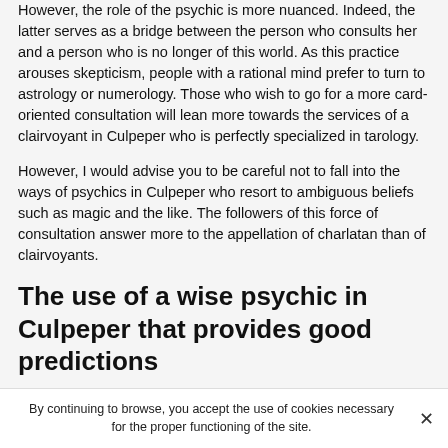However, the role of the psychic is more nuanced. Indeed, the latter serves as a bridge between the person who consults her and a person who is no longer of this world. As this practice arouses skepticism, people with a rational mind prefer to turn to astrology or numerology. Those who wish to go for a more card-oriented consultation will lean more towards the services of a clairvoyant in Culpeper who is perfectly specialized in tarology.
However, I would advise you to be careful not to fall into the ways of psychics in Culpeper who resort to ambiguous beliefs such as magic and the like. The followers of this force of consultation answer more to the appellation of charlatan than of clairvoyants.
The use of a wise psychic in Culpeper that provides good predictions
By continuing to browse, you accept the use of cookies necessary for the proper functioning of the site.